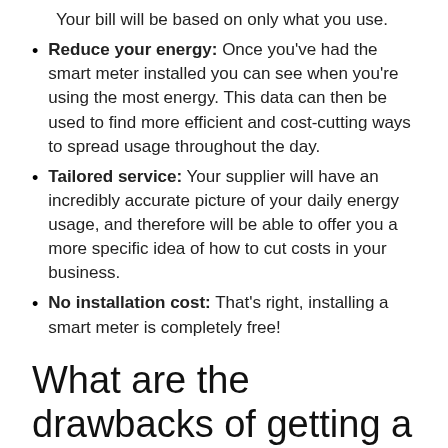Your bill will be based on only what you use.
Reduce your energy: Once you've had the smart meter installed you can see when you're using the most energy. This data can then be used to find more efficient and cost-cutting ways to spread usage throughout the day.
Tailored service: Your supplier will have an incredibly accurate picture of your daily energy usage, and therefore will be able to offer you a more specific idea of how to cut costs in your business.
No installation cost: That's right, installing a smart meter is completely free!
What are the drawbacks of getting a smart meter?
Compatibility issues: Not all smart meters will